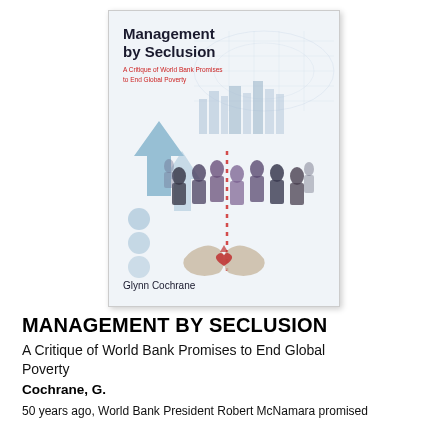[Figure (illustration): Book cover of 'Management by Seclusion: A Critique of World Bank Promises to End Global Poverty' by Glynn Cochrane. Cover shows silhouettes of people walking in a city, a world map outline in the background, large blue arrows, grey circles, a city skyline, and two hands cupping a small red heart symbol. The title is in large dark text and the subtitle is in red text.]
MANAGEMENT BY SECLUSION
A Critique of World Bank Promises to End Global Poverty
Cochrane, G.
50 years ago, World Bank President Robert McNamara promised